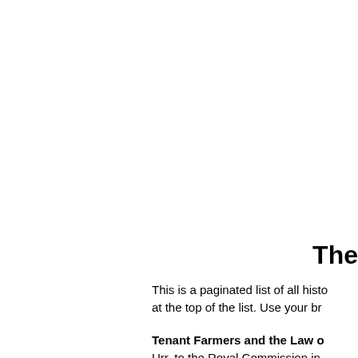The
This is a paginated list of all histo at the top of the list. Use your br
Tenant Farmers and the Law o Urr, to the Royal Commission in